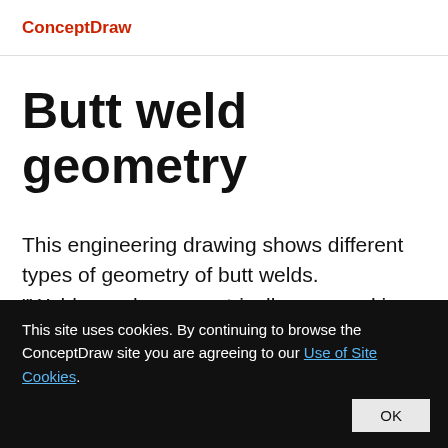ConceptDraw
Butt weld geometry
This engineering drawing shows different types of geometry of butt welds.
"Welds can be geometrically prepared in many different ways. The five basic types of
This site uses cookies. By continuing to browse the ConceptDraw site you are agreeing to our Use of Site Cookies.